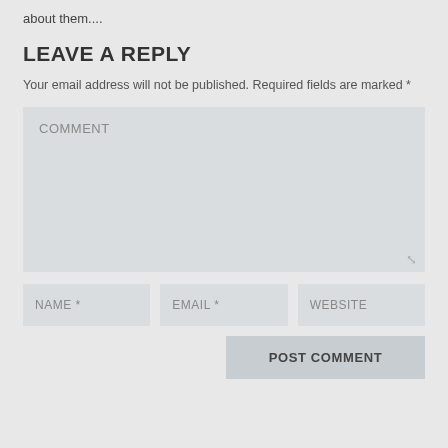about them....
LEAVE A REPLY
Your email address will not be published. Required fields are marked *
COMMENT
NAME *
EMAIL *
WEBSITE
POST COMMENT